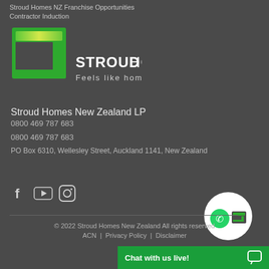Stroud Homes NZ Franchise Opportunities
Contractor Induction
[Figure (logo): Stroud Homes logo with green square bracket icon, text STROUDHOMES and tagline 'Feels like home']
Stroud Homes New Zealand LP
0800 469 787 683
0800 469 787 683
PO Box 6310, Wellesley Street, Auckland 1141, New Zealand
[Figure (infographic): Social media icons: Facebook, YouTube, Instagram]
[Figure (logo): WhatsApp + Stroud Homes logo bubble]
© 2022 Stroud Homes New Zealand All rights reserved
ACN  |  Privacy Policy  |  Disclaimer
Chat with us live!